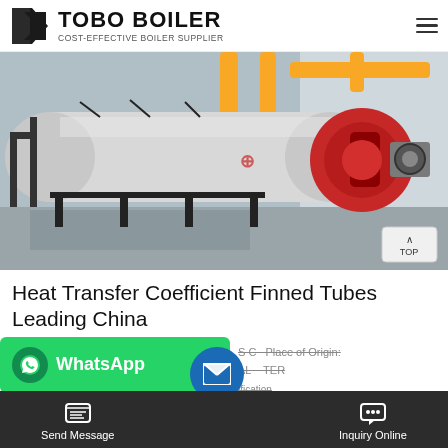TOBO BOILER - COST-EFFECTIVE BOILER SUPPLIER
[Figure (photo): Industrial boiler installation photo showing a large horizontal white boiler vessel with red burner attached, yellow pipes overhead, in an industrial facility]
Heat Transfer Coefficient Finned Tubes Leading China
S C  Place of Origin: AL TER  ification
Send Message
Inquiry Online